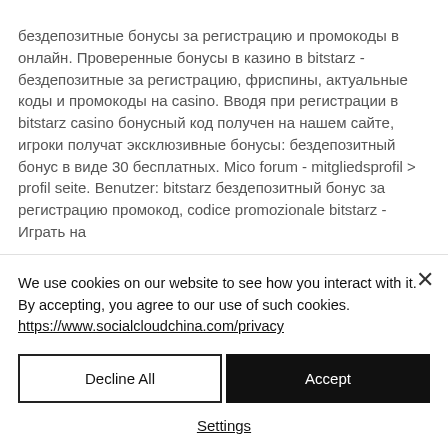бездепозитные бонусы за регистрацию и промокоды в онлайн. Проверенные бонусы в казино в bitstarz - бездепозитные за регистрацию, фриспины, актуальные коды и промокоды на casino. Вводя при регистрации в bitstarz casino бонусный код получен на нашем сайте, игроки получат эксклюзивные бонусы: бездепозитный бонус в виде 30 бесплатных. Mico forum - mitgliedsprofil &gt; profil seite. Benutzer: bitstarz бездепозитный бонус за регистрацию промокод, codice promozionale bitstarz - Играть на
We use cookies on our website to see how you interact with it. By accepting, you agree to our use of such cookies. https://www.socialcloudchina.com/privacy
Decline All
Accept
Settings